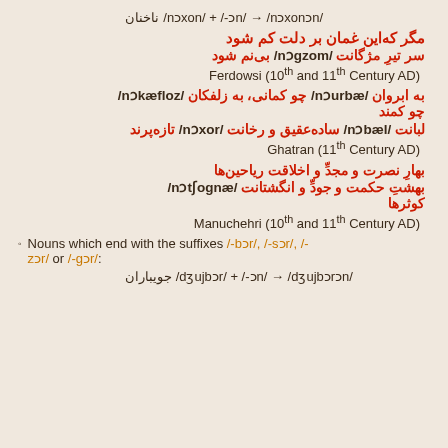ناخنان /nɔxon/ + /-ɔn/ → /nɔxonɔn/
مگر که‌این غمان بر دلت کم شود
سر تیرِ مژگانت /mozgɔn/ بی‌نم شود
Ferdowsi (10th and 11th Century AD)
به ابروان /æbruɔn/ چو کمانی، به زلفکان /zolfækon/
چو کمند
لبانت /læbɔn/ ساده‌عقیق و رخانت /roxɔn/ تازه‌پرند
Ghatran (11th Century AD)
بهارِ نصرت و مجدِّ و اخلاقت ریاحین‌ها
بهشتِ حکمت و جودِّ و انگشتانت /ængoʃtɔn/ کوثرها
Manuchehri (10th and 11th Century AD)
Nouns which end with the suffixes /-bɔr/, /-sɔr/, /-zɔr/ or /-gɔr/:
جویباران /dʒujbɔr/ + /-ɔn/ → /dʒujbɔrɔn/